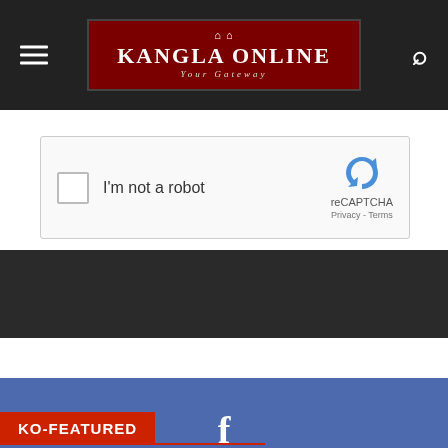Kangla Online — Your Gateway (navigation header with menu and search icons)
[Figure (screenshot): reCAPTCHA widget with checkbox labeled 'I'm not a robot', reCAPTCHA logo, Privacy - Terms links]
[Figure (other): Dark gray/black horizontal banner bar]
[Figure (infographic): Facebook fans count widget: f icon, 42,595, Fans on blue background]
KO-FEATURED